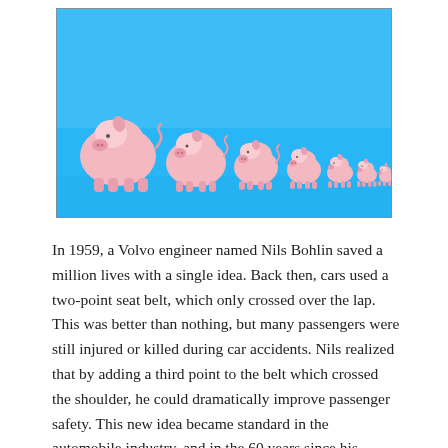[Figure (photo): A row of pink piggy banks on a blue background, decreasing in size from left to right, suggesting diminishing savings.]
In 1959, a Volvo engineer named Nils Bohlin saved a million lives with a single idea. Back then, cars used a two-point seat belt, which only crossed over the lap. This was better than nothing, but many passengers were still injured or killed during car accidents. Nils realized that by adding a third point to the belt which crossed the shoulder, he could dramatically improve passenger safety. This new idea became standard in the automobile industry, and in the 60 years since his